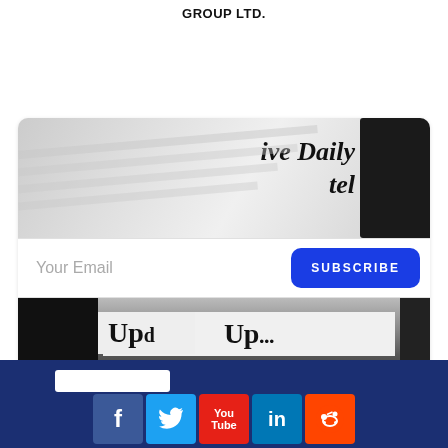GROUP LTD.
[Figure (screenshot): Newsletter subscribe widget showing newspaper images with 'ive Daily tel' and 'Upd' text visible, an email input field labeled 'Your Email', and a blue SUBSCRIBE button]
[Figure (infographic): Dark navy blue footer bar with a white bar element and social media icons: Facebook (blue), Twitter (light blue), YouTube (red), LinkedIn (blue), Reddit (orange-red)]